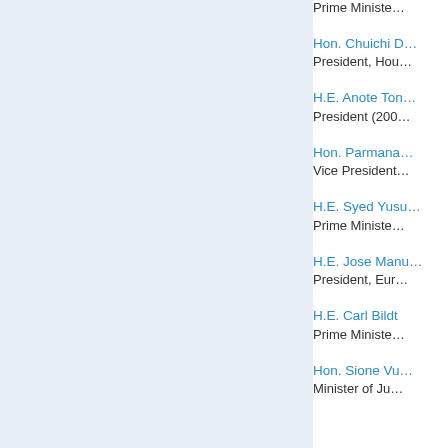Prime Ministe…
Hon. Chuichi D…
President, Hou…
H.E. Anote Ton…
President (200…
Hon. Parmana…
Vice President…
H.E. Syed Yusu…
Prime Ministe…
H.E. Jose Manu…
President, Eur…
H.E. Carl Bildt
Prime Ministe…
Hon. Sione Vu…
Minister of Ju…